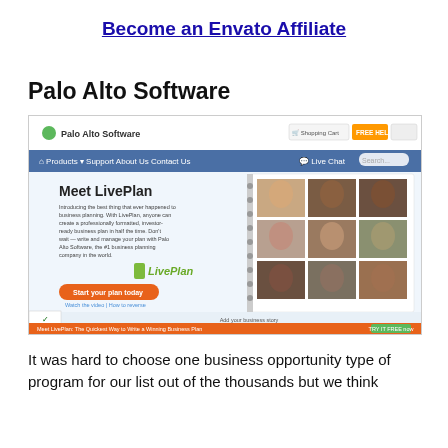Become an Envato Affiliate
Palo Alto Software
[Figure (screenshot): Screenshot of Palo Alto Software website showing the LivePlan product page with 'Meet LivePlan' headline, a 'Start your plan today' button, a grid of profile photos, and navigation bar. A Norton security badge is visible in the lower left corner.]
It was hard to choose one business opportunity type of program for our list out of the thousands but we think Palo Alto Software stands out ...